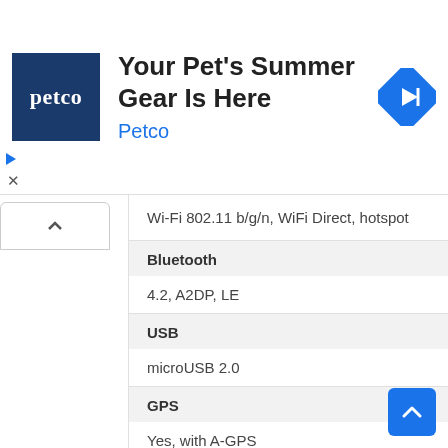[Figure (screenshot): Petco advertisement banner with logo, headline 'Your Pet's Summer Gear Is Here', and navigation icon]
| Wi-Fi 802.11 b/g/n, WiFi Direct, hotspot |
| Bluetooth | 4.2, A2DP, LE |
| USB | microUSB 2.0 |
| GPS | Yes, with A-GPS |
| NFC | No |